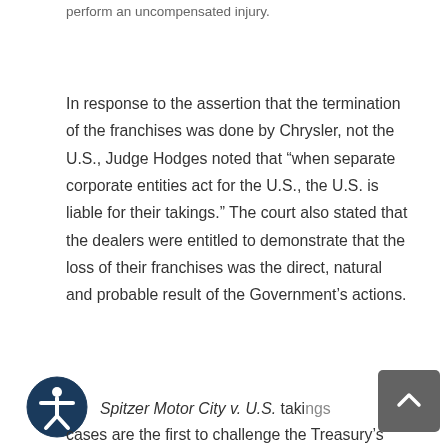perform an uncompensated injury.
In response to the assertion that the termination of the franchises was done by Chrysler, not the U.S., Judge Hodges noted that “when separate corporate entities act for the U.S., the U.S. is liable for their takings.” The court also stated that the dealers were entitled to demonstrate that the loss of their franchises was the direct, natural and probable result of the Government’s actions.
Spitzer Motor City v. U.S. takings cases are the first to challenge the Treasury’s